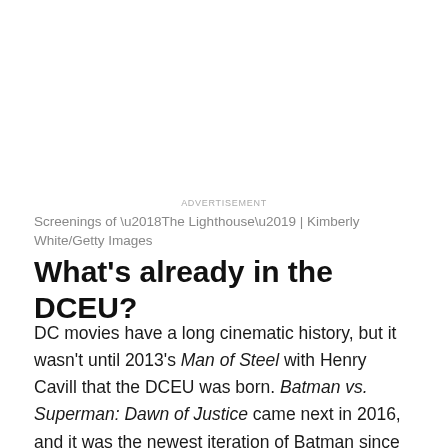ADVERTISEMENT
Screenings of ‘The Lighthouse’ | Kimberly White/Getty Images
What’s already in the DCEU?
DC movies have a long cinematic history, but it wasn't until 2013’s Man of Steel with Henry Cavill that the DCEU was born. Batman vs. Superman: Dawn of Justice came next in 2016, and it was the newest iteration of Batman since Christian Bale’s turn in the Dark Knight trilogy from 2005 – 2012.